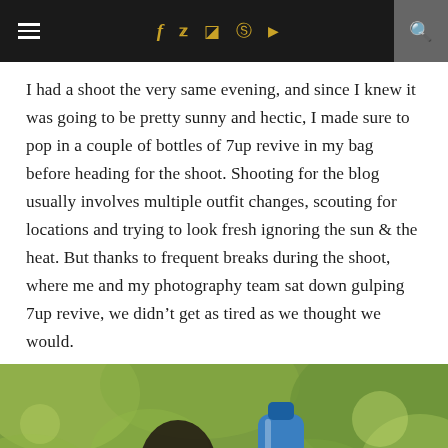≡  f  🐦  📷   Pinterest  ▶  🔍
I had a shoot the very same evening, and since I knew it was going to be pretty sunny and hectic, I made sure to pop in a couple of bottles of 7up revive in my bag before heading for the shoot. Shooting for the blog usually involves multiple outfit changes, scouting for locations and trying to look fresh ignoring the sun & the heat. But thanks to frequent breaks during the shoot, where me and my photography team sat down gulping 7up revive, we didn't get as tired as we thought we would.
[Figure (photo): A woman wearing sunglasses holding up a blue 7up Revive bottle in front of a blurred green background with trees]